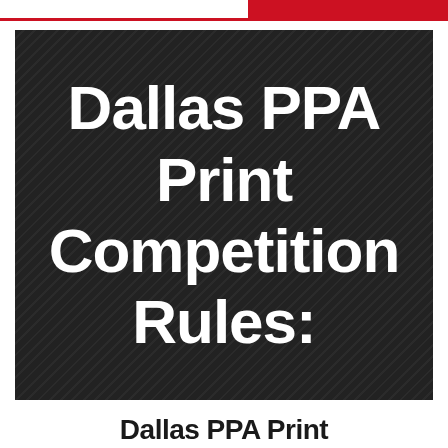Dallas PPA Print Competition Rules:
Dallas PPA Print